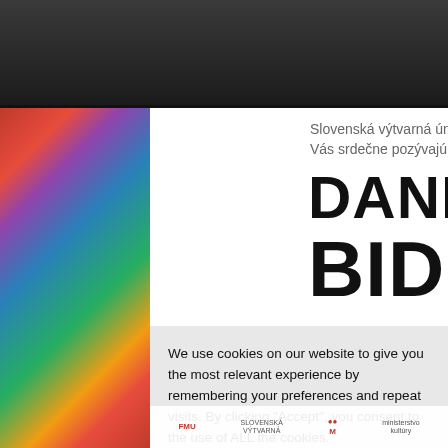[Figure (photo): Top dark band showing partial photo, likely equestrian or outdoor scene with dark background]
[Figure (photo): Left side: colorful face-painted person profile. Right side: white promotional poster for Daniel Bidelnic exhibition with text in Slovak]
Slovenská výtvarná únia a autor Vás srdečne pozývajú na otvorenie výsta
DANIEL
BIDELNIČ
We use cookies on our website to give you the most relevant experience by remembering your preferences and repeat visits. By clicking "Accept", you consent to the use of ALL the cookies.
Do not sell my personal information.
Cookie Settings
Accept
[Figure (logo): Bottom logos bar with multiple organization logos including FMU, Slovenska Vytvarná and others]